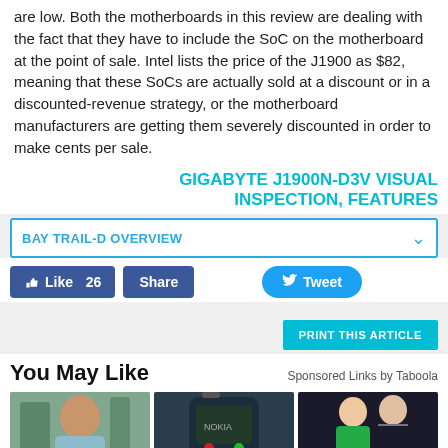are low. Both the motherboards in this review are dealing with the fact that they have to include the SoC on the motherboard at the point of sale. Intel lists the price of the J1900 as $82, meaning that these SoCs are actually sold at a discount or in a discounted-revenue strategy, or the motherboard manufacturers are getting them severely discounted in order to make cents per sale.
GIGABYTE J1900N-D3V VISUAL INSPECTION, FEATURES
BAY TRAIL-D OVERVIEW
Like 26  Share  Tweet
PRINT THIS ARTICLE
You May Like
Sponsored Links by Taboola
[Figure (photo): Three thumbnail images in a row: a woman outdoors, a Nokia phone, and a couple at an event]